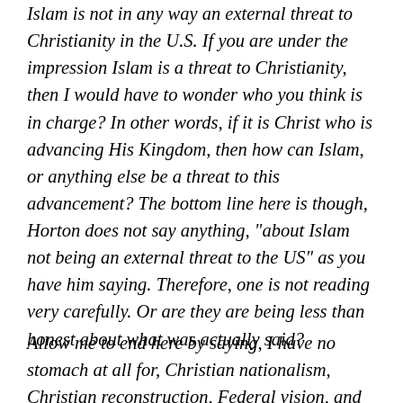Islam is not in any way an external threat to Christianity in the U.S. If you are under the impression Islam is a threat to Christianity, then I would have to wonder who you think is in charge? In other words, if it is Christ who is advancing His Kingdom, then how can Islam, or anything else be a threat to this advancement? The bottom line here is though, Horton does not say anything, “about Islam not being an external threat to the US” as you have him saying. Therefore, one is not reading very carefully. Or are they are being less than honest about what was actually said?
Allow me to end here by saying, I have no stomach at all for, Christian nationalism, Christian reconstruction, Federal vision, and the like. I have